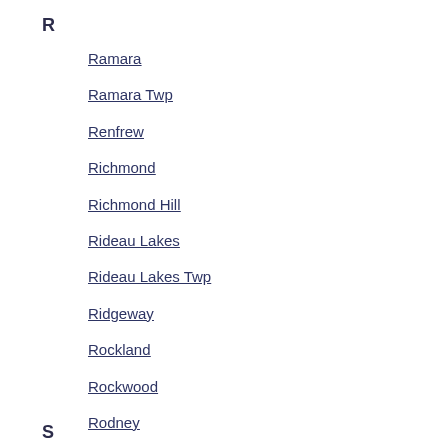R
Ramara
Ramara Twp
Renfrew
Richmond
Richmond Hill
Rideau Lakes
Rideau Lakes Twp
Ridgeway
Rockland
Rockwood
Rodney
Roseneath
Roseville
Russell
S